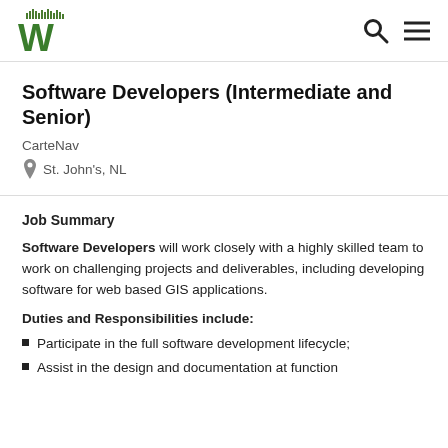Workpolis logo, search icon, menu icon
Software Developers (Intermediate and Senior)
CarteNav
St. John's, NL
Job Summary
Software Developers will work closely with a highly skilled team to work on challenging projects and deliverables, including developing software for web based GIS applications.
Duties and Responsibilities include:
Participate in the full software development lifecycle;
Assist in the design and documentation at function